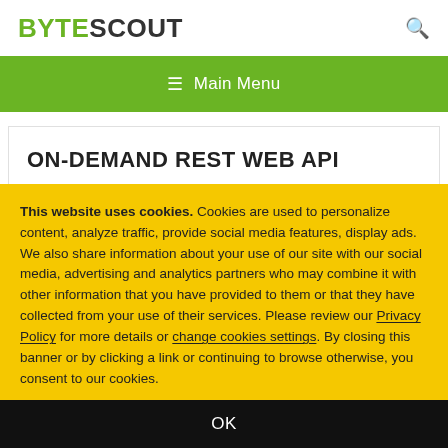BYTESCOUT
☰ Main Menu
ON-DEMAND REST WEB API
This website uses cookies. Cookies are used to personalize content, analyze traffic, provide social media features, display ads. We also share information about your use of our site with our social media, advertising and analytics partners who may combine it with other information that you have provided to them or that they have collected from your use of their services. Please review our Privacy Policy for more details or change cookies settings. By closing this banner or by clicking a link or continuing to browse otherwise, you consent to our cookies.
OK